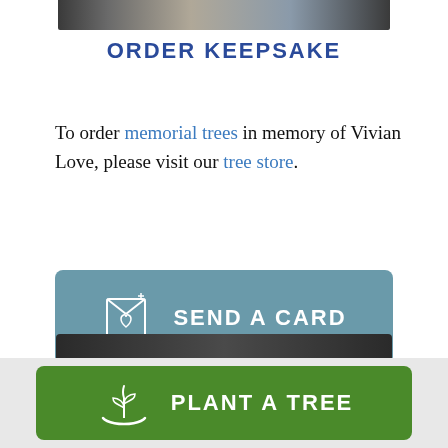[Figure (photo): Partial top image banner, cropped at top of page]
ORDER KEEPSAKE
To order memorial trees in memory of Vivian Love, please visit our tree store.
[Figure (other): Send a Card button with greeting card icon]
[Figure (other): Plant a Tree button with plant/hand icon on green background]